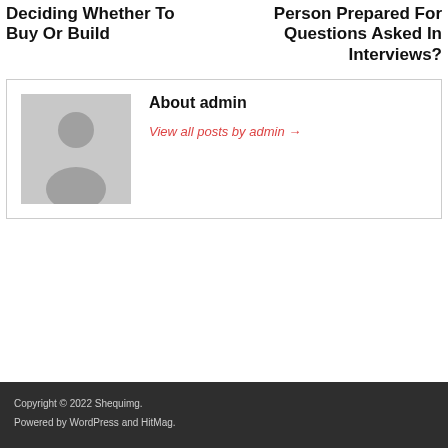Deciding Whether To Buy Or Build
Person Prepared For Questions Asked In Interviews?
About admin
View all posts by admin →
Copyright © 2022 Shequimg.
Powered by WordPress and HitMag.